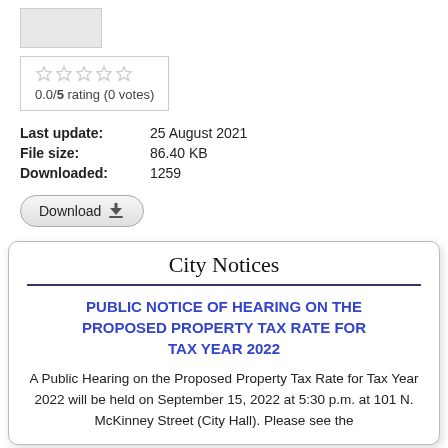[Figure (other): Gray image placeholder rectangle]
0.0/5 rating (0 votes)
Last update: 25 August 2021
File size: 86.40 KB
Downloaded: 1259
Download
City Notices
PUBLIC NOTICE OF HEARING ON THE PROPOSED PROPERTY TAX RATE FOR TAX YEAR 2022
A Public Hearing on the Proposed Property Tax Rate for Tax Year 2022 will be held on September 15, 2022 at 5:30 p.m. at 101 N. McKinney Street (City Hall). Please see the